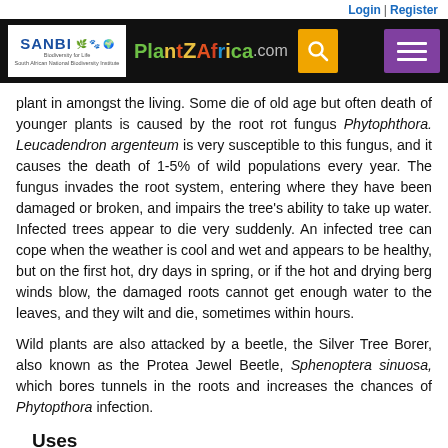Login | Register
[Figure (logo): SANBI logo and PlantZAfrica.com website header navigation bar with search and menu buttons]
plant in amongst the living. Some die of old age but often death of younger plants is caused by the root rot fungus Phytophthora. Leucadendron argenteum is very susceptible to this fungus, and it causes the death of 1-5% of wild populations every year. The fungus invades the root system, entering where they have been damaged or broken, and impairs the tree's ability to take up water. Infected trees appear to die very suddenly. An infected tree can cope when the weather is cool and wet and appears to be healthy, but on the first hot, dry days in spring, or if the hot and drying berg winds blow, the damaged roots cannot get enough water to the leaves, and they wilt and die, sometimes within hours.
Wild plants are also attacked by a beetle, the Silver Tree Borer, also known as the Protea Jewel Beetle, Sphenoptera sinuosa, which bores tunnels in the roots and increases the chances of Phytophthora infection.
Uses
Leucadendron argenteum is widely cultivated as an ornamental garden specimen. Its beautiful silver foliage is used in floristry and